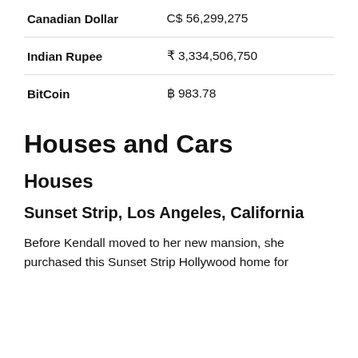| Currency | Amount |
| --- | --- |
| Canadian Dollar | C$ 56,299,275 |
| Indian Rupee | ₹ 3,334,506,750 |
| BitCoin | ฿ 983.78 |
Houses and Cars
Houses
Sunset Strip, Los Angeles, California
Before Kendall moved to her new mansion, she purchased this Sunset Strip Hollywood home for